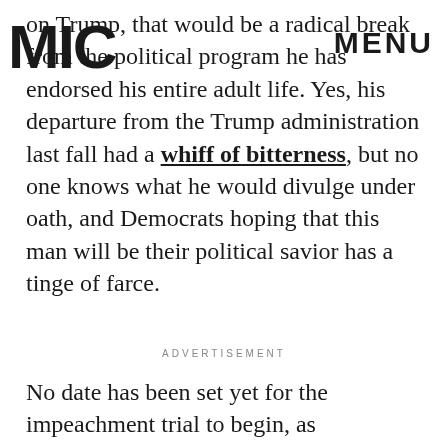MIC  MENU
on Trump, that would be a radical break from the political program he has endorsed his entire adult life. Yes, his departure from the Trump administration last fall had a whiff of bitterness, but no one knows what he would divulge under oath, and Democrats hoping that this man will be their political savior has a tinge of farce.
ADVERTISEMENT
No date has been set yet for the impeachment trial to begin, as Democrats are withholding the articles